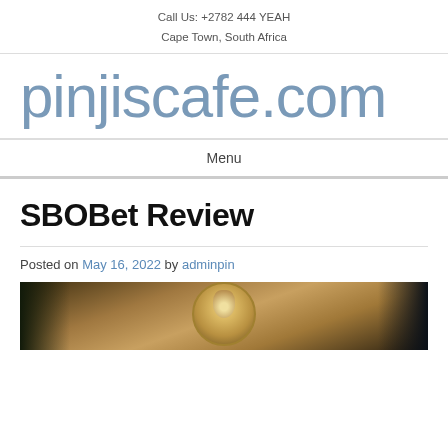Call Us: +2782 444 YEAH
Cape Town, South Africa
pinjiscafe.com
Menu
SBOBet Review
Posted on May 16, 2022 by adminpin
[Figure (photo): Interior photo of a casino or hotel ceiling with ornate chandelier lighting, warm golden tones, dark corners]